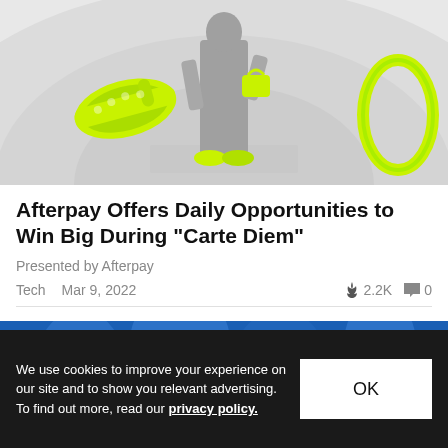[Figure (photo): Marketing image showing neon yellow-green Crocs shoes floating in a white circular room with a gray mannequin figure wearing the shoes and a neon ring shape on the right]
Afterpay Offers Daily Opportunities to Win Big During "Carte Diem"
Presented by Afterpay
Tech   Mar 9, 2022   🔥 2.2K   💬 0
[Figure (photo): Partial image with blue bokeh background and dark silhouette of a smartphone in the lower right]
We use cookies to improve your experience on our site and to show you relevant advertising. To find out more, read our privacy policy.